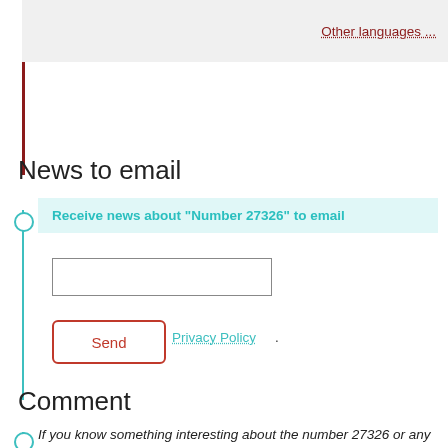Other languages ...
News to email
Receive news about "Number 27326" to email
Send
Privacy Policy.
Comment
If you know something interesting about the number 27326 or any natural number (positive integer) please write us here or on facebook